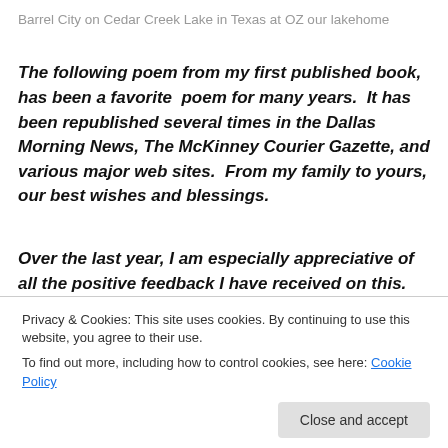Barrel City on Cedar Creek Lake in Texas at OZ our lakehome
The following poem from my first published book, has been a favorite poem for many years. It has been republished several times in the Dallas Morning News, The McKinney Courier Gazette, and various major web sites. From my family to yours, our best wishes and blessings.
Over the last year, I am especially appreciative of all the positive feedback I have received on this.
Privacy & Cookies: This site uses cookies. By continuing to use this website, you agree to their use.
To find out more, including how to control cookies, see here: Cookie Policy